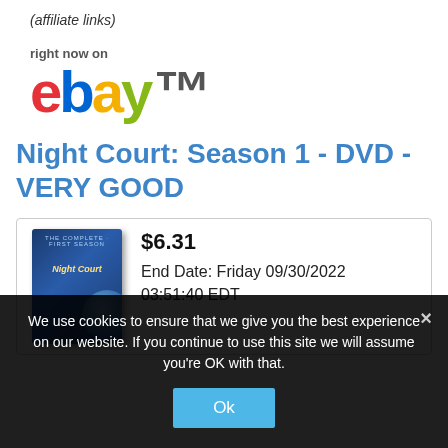(affiliate links)
[Figure (logo): eBay logo with 'right now on' text above. Letters e-b-a-y in red, blue, yellow, green with TM mark.]
Night Court: Season 1 - DVD - VERY GOOD
[Figure (screenshot): eBay listing card with Night Court Season 1 DVD box art on the left, price $6.31, End Date: Friday 09/30/2022 03:51:40 EDT on the right.]
We use cookies to ensure that we give you the best experience on our website. If you continue to use this site we will assume you're OK with that.